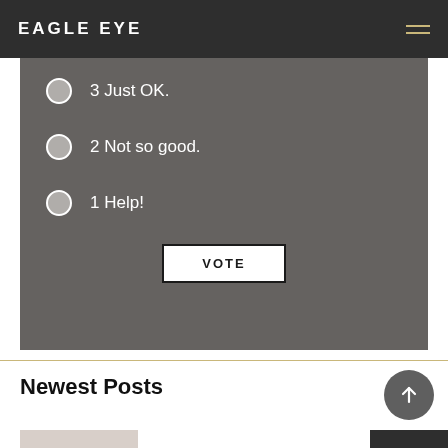EAGLE EYE
3 Just OK.
2 Not so good.
1 Help!
VOTE
Newest Posts